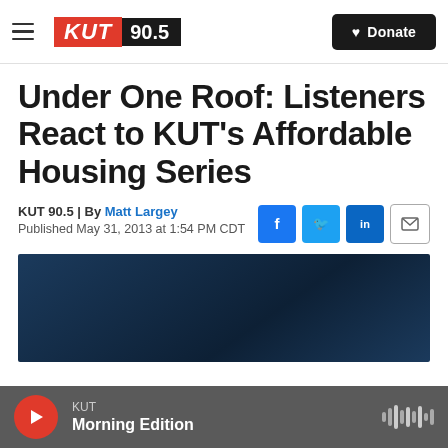KUT 90.5 | Donate
Under One Roof: Listeners React to KUT's Affordable Housing Series
KUT 90.5 | By Matt Largey
Published May 31, 2013 at 1:54 PM CDT
[Figure (photo): Dark blue gradient background image, partial view of an audio/media player area]
KUT Morning Edition